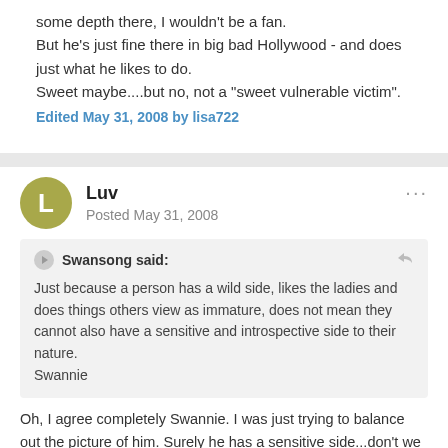some depth there, I wouldn't be a fan.
But he's just fine there in big bad Hollywood - and does just what he likes to do.
Sweet maybe....but no, not a "sweet vulnerable victim".
Edited May 31, 2008 by lisa722
Luv
Posted May 31, 2008
Swansong said:
Just because a person has a wild side, likes the ladies and does things others view as immature, does not mean they cannot also have a sensitive and introspective side to their nature.
Swannie
Oh, I agree completely Swannie. I was just trying to balance out the picture of him. Surely he has a sensitive side...don't we all?